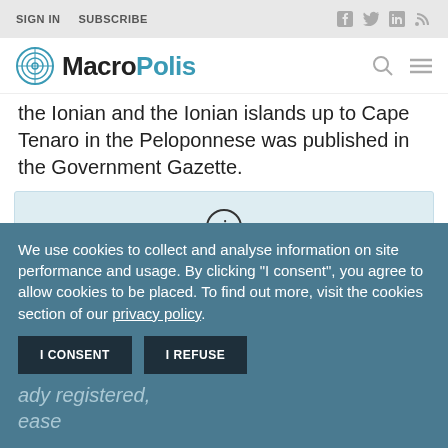SIGN IN  SUBSCRIBE
[Figure (logo): MacroPolis logo with teal circle icon and bold text MacroPolis]
the Ionian and the Ionian islands up to Cape Tenaro in the Peloponnese was published in the Government Gazette.
You need a subscription to access our
We use cookies to collect and analyse information on site performance and usage. By clicking "I consent", you agree to allow cookies to be placed. To find out more, visit the cookies section of our privacy policy.
I CONSENT   I REFUSE
ady registered, ease